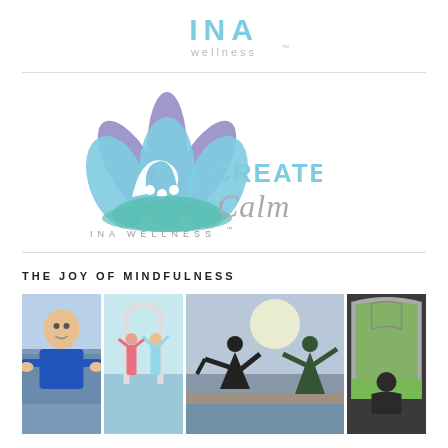[Figure (logo): INA Wellness logo at top center — 'INA' in teal bold letters, 'wellness™' in small grey letters below]
[Figure (logo): INA Wellness Create Calm logo — lotus flower with teal and purple petals, 'CREATE Calm' text in teal/grey, 'INA WELLNESS™' text below]
THE JOY OF MINDFULNESS
[Figure (photo): Four photos side by side: 1) Person in blue shirt meditating in front of a Toyota vehicle; 2) Two people stretching/yoga on a boat dock; 3) Silhouettes of two people doing yoga poses against a cloudy sky by water; 4) Person sitting meditating inside an arched stone building/chapel looking out at green grass]